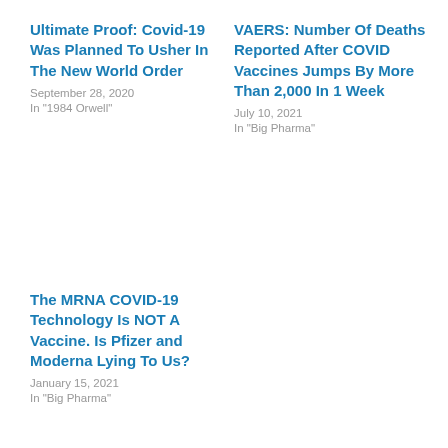Ultimate Proof: Covid-19 Was Planned To Usher In The New World Order
September 28, 2020
In "1984 Orwell"
VAERS: Number Of Deaths Reported After COVID Vaccines Jumps By More Than 2,000 In 1 Week
July 10, 2021
In "Big Pharma"
The MRNA COVID-19 Technology Is NOT A Vaccine. Is Pfizer and Moderna Lying To Us?
January 15, 2021
In "Big Pharma"